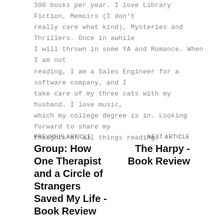100 books per year. I love Library Fiction, Memoirs (I don't really care what kind), Mysteries and Thrillers. Once in awhile I will thrown in some YA and Romance. When I am not reading, I am a Sales Engineer for a software company, and I take care of my three cats with my husband. I love music, which my college degree is in. Looking forward to share my thoughts on all things reading.
PREVIOUS ARTICLE
Group: How One Therapist and a Circle of Strangers Saved My Life - Book Review
NEXT ARTICLE
The Harpy - Book Review